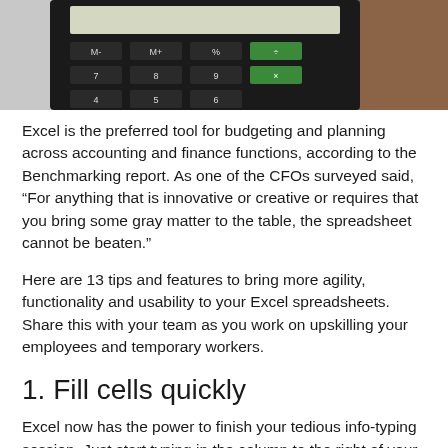[Figure (photo): Top portion of a calculator showing numeric keys and buttons on a wooden surface, cropped at the top of the page.]
Excel is the preferred tool for budgeting and planning across accounting and finance functions, according to the Benchmarking report. As one of the CFOs surveyed said, “For anything that is innovative or creative or requires that you bring some gray matter to the table, the spreadsheet cannot be beaten.”
Here are 13 tips and features to bring more agility, functionality and usability to your Excel spreadsheets. Share this with your team as you work on upskilling your employees and temporary workers.
1. Fill cells quickly
Excel now has the power to finish your tedious info-typing session. Just start typing in the column to the right of your data.
Excel will then gather suggestions to fill the rest of your cells after typing a few examples. To accept